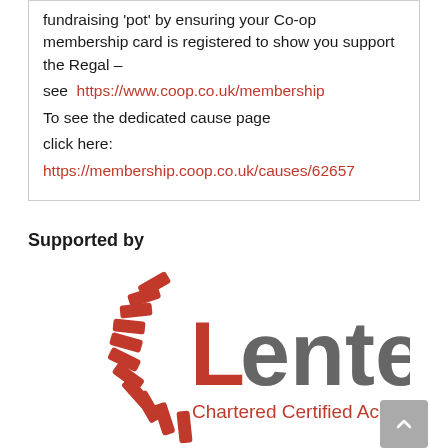fundraising 'pot' by ensuring your Co-op membership card is registered to show you support the Regal – see https://www.coop.co.uk/membership To see the dedicated cause page click here: https://membership.coop.co.uk/causes/62657
Supported by
[Figure (logo): Lentells Chartered Certified Accountants logo — red curved stripe of blocks on the left, grey text 'Lentells' with red 'L', red text 'Chartered Certified Accountants' below]